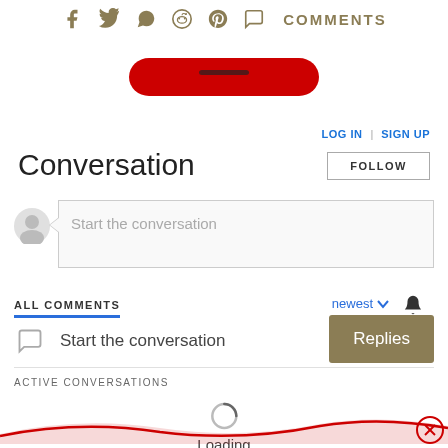[Figure (screenshot): Social media share icons: Facebook, Twitter, WhatsApp, Reddit, Pinterest, Comments chat bubble, and COMMENTS label]
[Figure (screenshot): Red subscribe/follow button partially visible]
LOG IN | SIGN UP
Conversation
FOLLOW
Start the conversation
ALL COMMENTS
newest
Replies
Start the conversation
ACTIVE CONVERSATIONS
Loading